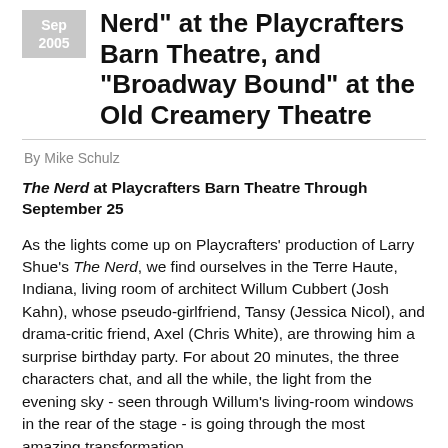Nerd" at the Playcrafters Barn Theatre, and "Broadway Bound" at the Old Creamery Theatre
By Mike Schulz
The Nerd at Playcrafters Barn Theatre Through September 25
As the lights come up on Playcrafters' production of Larry Shue's The Nerd, we find ourselves in the Terre Haute, Indiana, living room of architect Willum Cubbert (Josh Kahn), whose pseudo-girlfriend, Tansy (Jessica Nicol), and drama-critic friend, Axel (Chris White), are throwing him a surprise birthday party. For about 20 minutes, the three characters chat, and all the while, the light from the evening sky - seen through Willum's living-room windows in the rear of the stage - is going through the most amazing transformation.